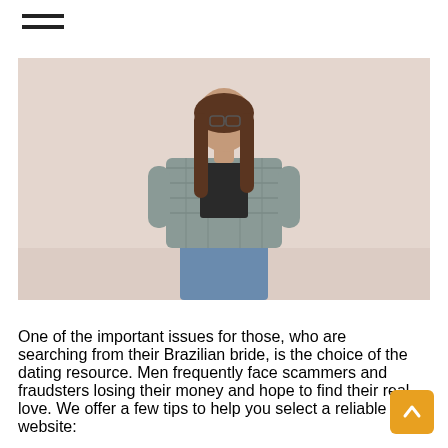≡ (hamburger menu icon)
[Figure (photo): A young woman with long brown hair wearing glasses, a plaid flannel shirt over a black top, and jeans, standing against a light beige/cream wall, looking at the camera with a neutral expression.]
One of the important issues for those, who are searching from their Brazilian bride, is the choice of the dating resource. Men frequently face scammers and fraudsters losing their money and hope to find their real love. We offer a few tips to help you select a reliable website: